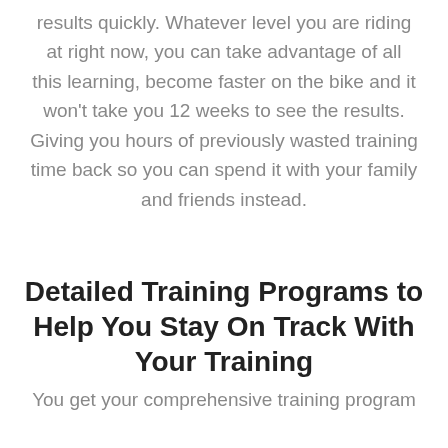results quickly. Whatever level you are riding at right now, you can take advantage of all this learning, become faster on the bike and it won't take you 12 weeks to see the results. Giving you hours of previously wasted training time back so you can spend it with your family and friends instead.
Detailed Training Programs to Help You Stay On Track With Your Training
You get your comprehensive training program